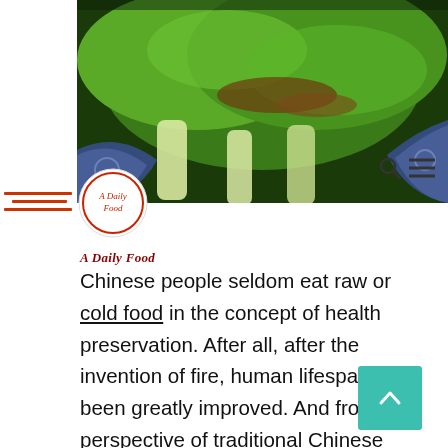[Figure (photo): A photograph of green leafy vegetables (bok choy / Chinese greens) on a blue and white decorative plate, with a brown sauce or seasoning]
A Daily Food
Chinese people seldom eat raw or cold food in the concept of health preservation. After all, after the invention of fire, human lifespan has been greatly improved. And from the perspective of traditional Chinese medicine, the digestive system is the most in need of protection and the foundation of good health. If a person is sick and goes to a doctor of traditional Chinese medicine, he will tell you to avoid raw and cold food while taking medicine, so as to help the rapid recovery of health.